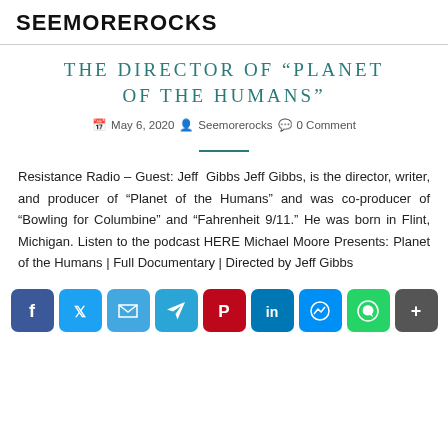SEEMOREROCKS
THE DIRECTOR OF “PLANET OF THE HUMANS”
May 6, 2020   Seemorerocks   0 Comment
Resistance Radio – Guest: Jeff Gibbs Jeff Gibbs, is the director, writer, and producer of “Planet of the Humans” and was co-producer of “Bowling for Columbine” and “Fahrenheit 9/11.” He was born in Flint, Michigan. Listen to the podcast HERE Michael Moore Presents: Planet of the Humans | Full Documentary | Directed by Jeff Gibbs
[Figure (infographic): Social share buttons: Facebook, Twitter, Email, Telegram, Pinterest, LinkedIn, Messenger, WhatsApp, More]